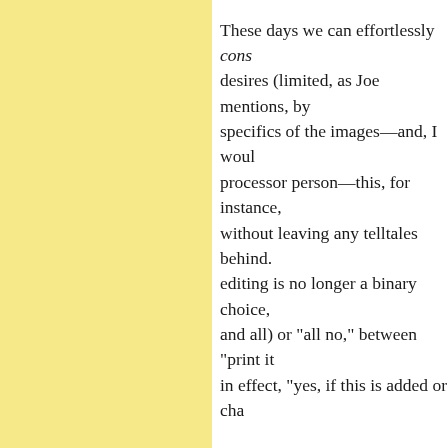These days we can effortlessly cons desires (limited, as Joe mentions, by specifics of the images—and, I woul processor person—this, for instance, without leaving any telltales behind. editing is no longer a binary choice, and all) or "all no," between "print it in effect, "yes, if this is added or cha Where photography started for me c the lens image—what you saw on th for example. The integrity of the ima The print was just trying to "fix the s report of the lens image. Attempts to exposures were illegitimate on their throughout history here and there—t Bodine used the same sky negative i in Joe's example above it's just a fix, thoughtful composition than I manag